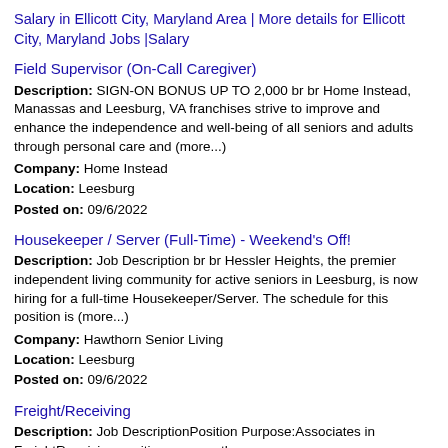Salary in Ellicott City, Maryland Area | More details for Ellicott City, Maryland Jobs |Salary
Field Supervisor (On-Call Caregiver)
Description: SIGN-ON BONUS UP TO 2,000 br br Home Instead, Manassas and Leesburg, VA franchises strive to improve and enhance the independence and well-being of all seniors and adults through personal care and (more...)
Company: Home Instead
Location: Leesburg
Posted on: 09/6/2022
Housekeeper / Server (Full-Time) - Weekend's Off!
Description: Job Description br br Hessler Heights, the premier independent living community for active seniors in Leesburg, is now hiring for a full-time Housekeeper/Server. The schedule for this position is (more...)
Company: Hawthorn Senior Living
Location: Leesburg
Posted on: 09/6/2022
Freight/Receiving
Description: Job DescriptionPosition Purpose:Associates in FreightReceiving positions ensure the